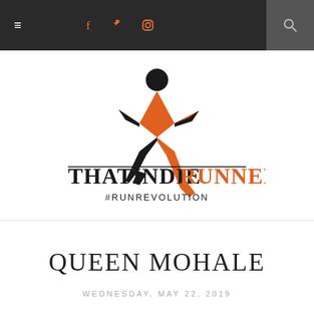Navigation bar with hamburger menu, social icons (f, twitter, instagram), and search
[Figure (logo): ThatIndieRunner logo: running figure in orange and black geometric style, text 'THATINDIERUNNER' with RUNNER in orange, subtitle '#RUNREVOLUTION']
QUEEN MOHALE
WEDNESDAY, MAY 22, 2019